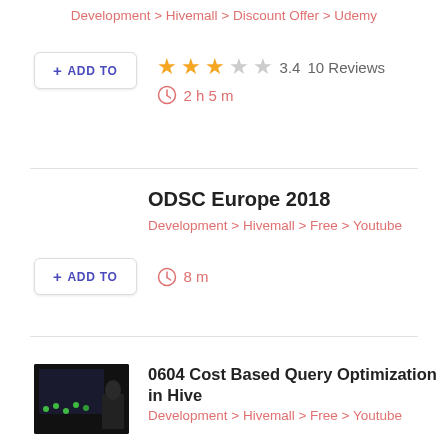Development > Hivemall > Discount Offer > Udemy
+ ADD TO
★★★☆☆ 3.4  10 Reviews
2 h 5 m
ODSC Europe 2018
Development > Hivemall > Free > Youtube
+ ADD TO
8 m
[Figure (photo): Dark thumbnail image showing a presentation slide with green dots/lights on a dark background]
0604 Cost Based Query Optimization in Hive
Development > Hivemall > Free > Youtube